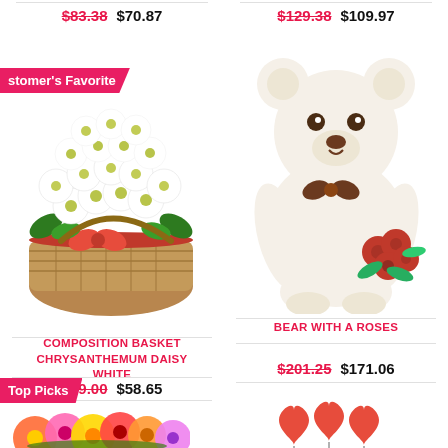$83.38  $70.87 (top left product price, gerberas)
$129.38  $109.97 (top right product price)
Customer's Favorite (badge)
[Figure (photo): Wicker basket filled with white chrysanthemum daisy flowers tied with a red ribbon bow]
COMPOSITION BASKET CHRYSANTHEMUM DAISY WHITE
$69.00  $58.65
[Figure (photo): Large cream/white stuffed teddy bear holding a bouquet of red roses with a brown ribbon bow]
BEAR WITH A ROSES
$201.25  $171.06
Top Picks (badge)
[Figure (photo): Colorful gerbera daisies arrangement in pink orange and yellow]
[Figure (photo): Red heart-shaped balloons on sticks]